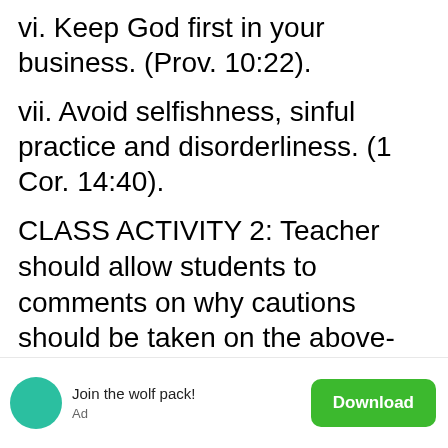vi. Keep God first in your business. (Prov. 10:22).
vii. Avoid selfishness, sinful practice and disorderliness. (1 Cor. 14:40).
CLASS ACTIVITY 2: Teacher should allow students to comments on why cautions should be taken on the above-stated points. ii. Teacher should allow one minute each for each of the comments.
Join the wolf pack!
Ad
Download